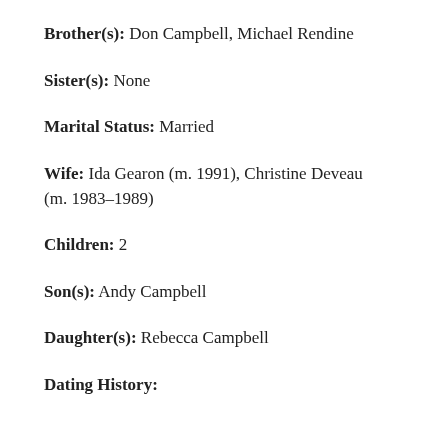Brother(s): Don Campbell, Michael Rendine
Sister(s): None
Marital Status: Married
Wife: Ida Gearon (m. 1991), Christine Deveau (m. 1983–1989)
Children: 2
Son(s): Andy Campbell
Daughter(s): Rebecca Campbell
Dating History: